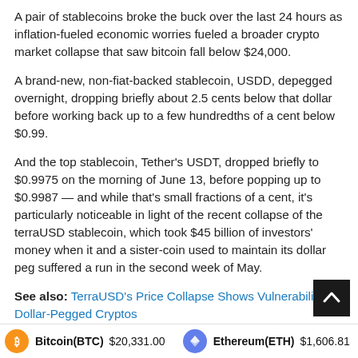A pair of stablecoins broke the buck over the last 24 hours as inflation-fueled economic worries fueled a broader crypto market collapse that saw bitcoin fall below $24,000.
A brand-new, non-fiat-backed stablecoin, USDD, depegged overnight, dropping briefly about 2.5 cents below that dollar before working back up to a few hundredths of a cent below $0.99.
And the top stablecoin, Tether's USDT, dropped briefly to $0.9975 on the morning of June 13, before popping up to $0.9987 — and while that's small fractions of a cent, it's particularly noticeable in light of the recent collapse of the terraUSD stablecoin, which took $45 billion of investors' money when it and a sister-coin used to maintain its dollar peg suffered a run in the second week of May.
See also: TerraUSD's Price Collapse Shows Vulnerability of Dollar-Pegged Cryptos
Bitcoin(BTC) $20,331.00   Ethereum(ETH) $1,606.81